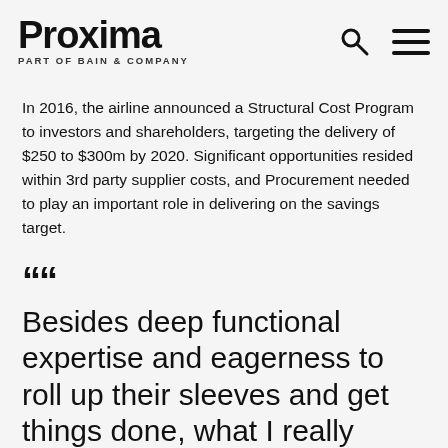Proxima PART OF BAIN & COMPANY
In 2016, the airline announced a Structural Cost Program to investors and shareholders, targeting the delivery of $250 to $300m by 2020. Significant opportunities resided within 3rd party supplier costs, and Procurement needed to play an important role in delivering on the savings target.
““ Besides deep functional expertise and eagerness to roll up their sleeves and get things done, what I really appreciate